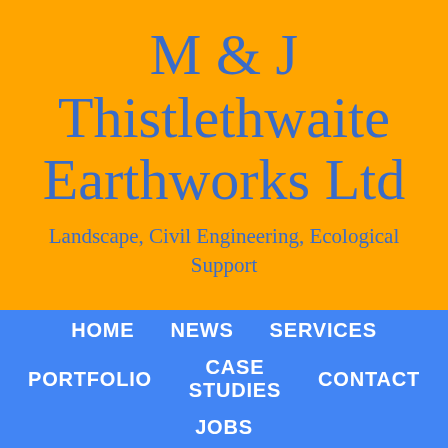M & J Thistlethwaite Earthworks Ltd
Landscape, Civil Engineering, Ecological Support
HOME
NEWS
SERVICES
PORTFOLIO
CASE STUDIES
CONTACT
JOBS